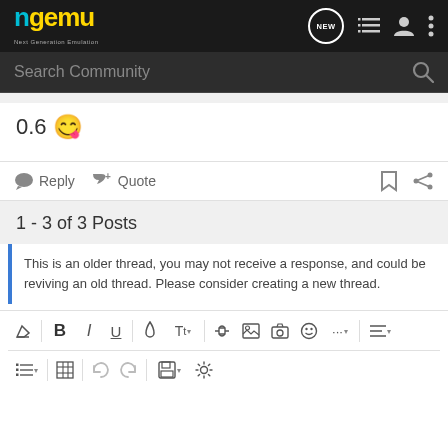ngemu — Next Generation Emulation navigation bar with search
0.6 😋
Reply   Quote
1 - 3 of 3 Posts
This is an older thread, you may not receive a response, and could be reviving an old thread. Please consider creating a new thread.
[Figure (screenshot): Text editor toolbar with formatting buttons: erase, B, I, U, color, text size, link, image, camera, emoji, more, align, list, table, undo, redo, save, settings]